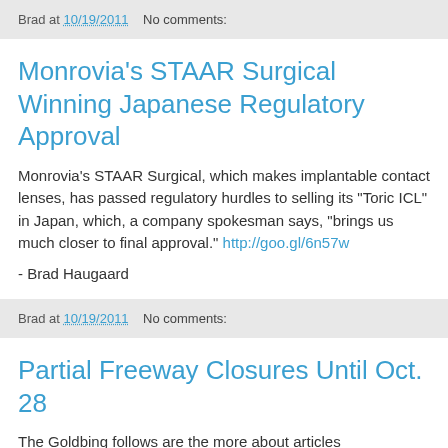Brad at 10/19/2011    No comments:
Monrovia's STAAR Surgical Winning Japanese Regulatory Approval
Monrovia's STAAR Surgical, which makes implantable contact lenses, has passed regulatory hurdles to selling its "Toric ICL" in Japan, which, a company spokesman says, "brings us much closer to final approval." http://goo.gl/6n57w
- Brad Haugaard
Brad at 10/19/2011    No comments:
Partial Freeway Closures Until Oct. 28
The Goldbing follows are the more about articles...